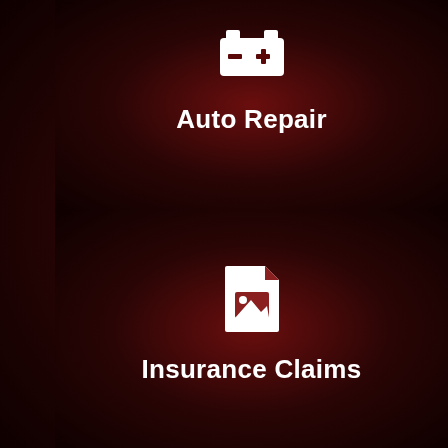[Figure (illustration): Battery/auto repair icon (white) on dark red background]
Auto Repair
[Figure (illustration): Insurance/document with image icon (white) on dark red background]
Insurance Claims